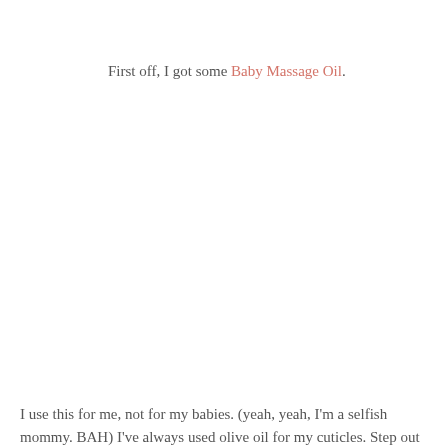First off, I got some Baby Massage Oil.
I use this for me, not for my babies. (yeah, yeah, I'm a selfish mommy. BAH) I've always used olive oil for my cuticles. Step out